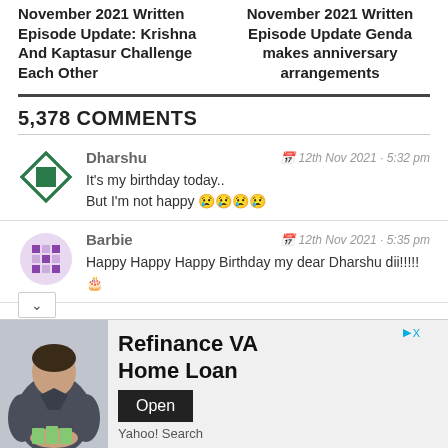November 2021 Written Episode Update: Krishna And Kaptasur Challenge Each Other
November 2021 Written Episode Update Genda makes anniversary arrangements
5,378 COMMENTS
Dharshu — 12th Nov 2021 · 5:32 pm — It's my birthday today.. But I'm not happy 😢😢😢😢
Barbie — 12th Nov 2021 · 5:35 pm — Happy Happy Happy Birthday my dear Dharshu dii!!!!!🎂
[Figure (infographic): Advertisement banner: Refinance VA Home Loan, Yahoo! Search, with Open button and a woman in military uniform holding cash]